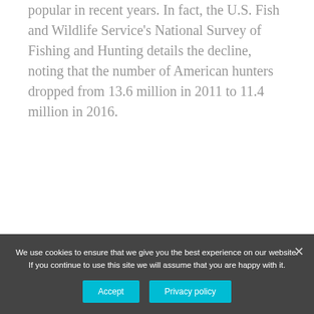popular in recent years. In fact, the U.S. Fish and Wildlife Service's National Survey of Fishing and Hunting details the decline, noting that the number of American hunters dropped from 13.6 million in 2011 to 11.4 million in 2016.
[Figure (infographic): Pro-Papers homework help advertisement banner with teal background, '15% off' promotion badge, and ORDER button]
Why is hunting a controversial issue?
We use cookies to ensure that we give you the best experience on our website. If you continue to use this site we will assume that you are happy with it.